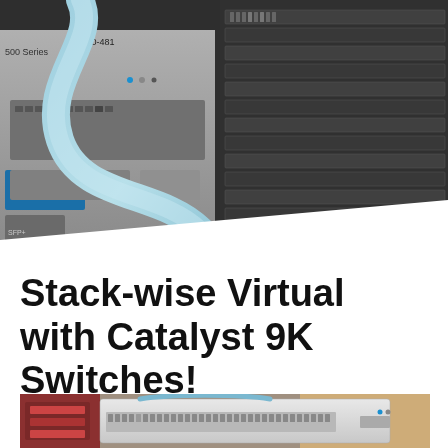[Figure (photo): Close-up photograph of Cisco Catalyst 9500 series network switches in a rack, with a light blue cable looping in the foreground. Labels visible include '500 Series', 'C9500-481', and 'cisco' logo with LED indicators.]
Stack-wise Virtual with Catalyst 9K Switches!
[Figure (photo): Photograph of a 1U rack-mounted Cisco Catalyst 9K switch on a desk or rack, with a blue cable connecting it. Additional networking equipment visible in the background.]